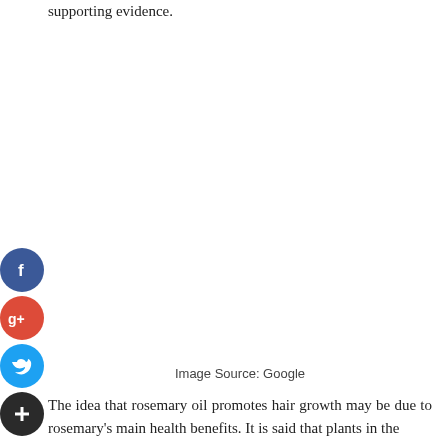supporting evidence.
[Figure (illustration): Social media share buttons: Facebook (blue), Google+ (red), Twitter (blue), and a plus/share button (dark). Image area above caption is blank/white.]
Image Source: Google
The idea that rosemary oil promotes hair growth may be due to rosemary's main health benefits. It is said that plants in the